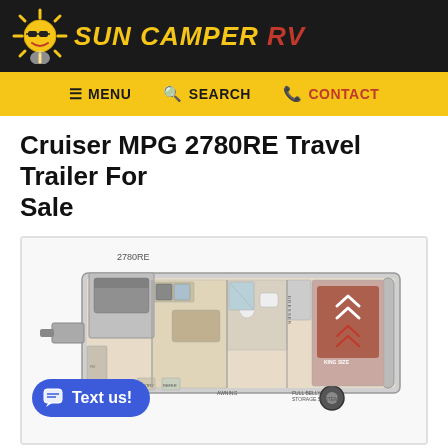[Figure (logo): Sun Camper RV logo with sun mascot wearing sunglasses on dark header bar]
MENU   SEARCH   CONTACT
Cruiser MPG 2780RE Travel Trailer For Sale
[Figure (illustration): Floor plan diagram of Cruiser MPG 2780RE travel trailer showing layout with king size bed, dresser, bathroom, kitchen, dining area, pantry, awning, and full belly storage system label]
Text us!